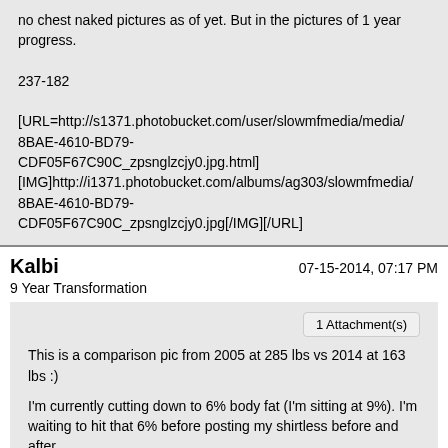no chest naked pictures as of yet. But in the pictures of 1 year progress.

237-182

[URL=http://s1371.photobucket.com/user/slowmfmedia/media/8BAE-4610-BD79-CDF05F67C90C_zpsnglzcjy0.jpg.html][IMG]http://i1371.photobucket.com/albums/ag303/slowmfmedia/8BAE-4610-BD79-CDF05F67C90C_zpsnglzcjy0.jpg[/IMG][/URL]
Kalbi
07-15-2014, 07:17 PM
9 Year Transformation
1 Attachment(s)
This is a comparison pic from 2005 at 285 lbs vs 2014 at 163 lbs :)
I'm currently cutting down to 6% body fat (I'm sitting at 9%). I'm waiting to hit that 6% before posting my shirtless before and after.